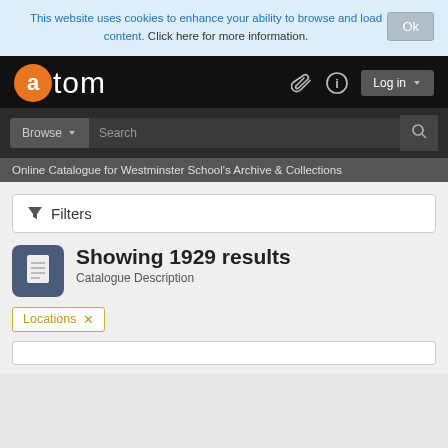This website uses cookies to enhance your ability to browse and load content. Click here for more information.
atom
Online Catalogue for Westminster School's Archive & Collections
Filters
Showing 1929 results
Catalogue Description
Locations ×